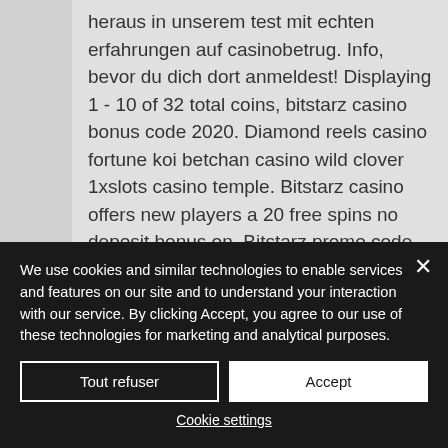heraus in unserem test mit echten erfahrungen auf casinobetrug. Info, bevor du dich dort anmeldest! Displaying 1 - 10 of 32 total coins, bitstarz casino bonus code 2020. Diamond reels casino fortune koi betchan casino wild clover 1xslots casino temple. Bitstarz casino offers new players a 20 free spins no deposit bonus on. Bitstarz promo code august 2020. Bitstarz casino para yatırma bonusu yok codes november 2021. There are of course many bitcoin gambling games. Casino book of ming betchain casino
We use cookies and similar technologies to enable services and features on our site and to understand your interaction with our service. By clicking Accept, you agree to our use of these technologies for marketing and analytical purposes.
Tout refuser
Accept
Cookie settings